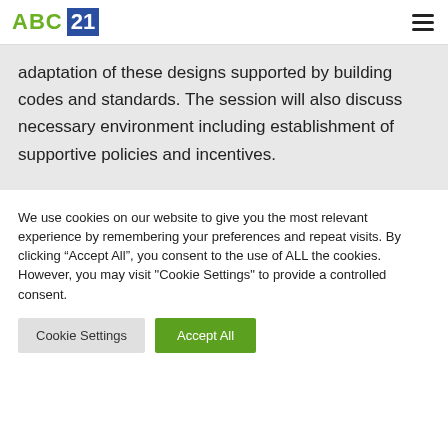ABC 21
adaptation of these designs supported by building codes and standards. The session will also discuss necessary environment including establishment of supportive policies and incentives.
We use cookies on our website to give you the most relevant experience by remembering your preferences and repeat visits. By clicking “Accept All”, you consent to the use of ALL the cookies. However, you may visit "Cookie Settings" to provide a controlled consent.